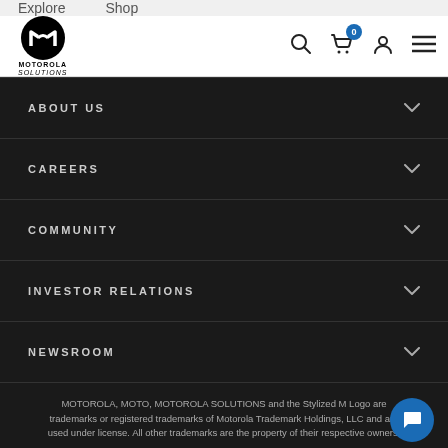Explore  Shop
[Figure (logo): Motorola Solutions logo: black circle with stylized M, text MOTOROLA SOLUTIONS below]
ABOUT US
CAREERS
COMMUNITY
INVESTOR RELATIONS
NEWSROOM
MOTOROLA, MOTO, MOTOROLA SOLUTIONS and the Stylized M Logo are trademarks or registered trademarks of Motorola Trademark Holdings, LLC and are used under license. All other trademarks are the property of their respective owners.